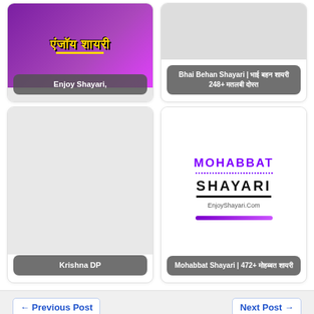[Figure (illustration): Enjoy Shayari logo: purple/pink gradient background with yellow Hindi text]
Enjoy Shayari,
[Figure (illustration): Gray placeholder image for Bhai Behan Shayari]
Bhai Behan Shayari | भाई बहन शायरी 248+ मतलबी दोस्त
[Figure (illustration): Light gray placeholder image for Krishna DP]
Krishna DP
[Figure (illustration): Mohabbat Shayari logo: purple MOHABBAT text, dotted line, black SHAYARI text, EnjoyShayari.Com, purple bar]
Mohabbat Shayari | 472+ मोहब्बत शायरी
← Previous Post
Next Post →